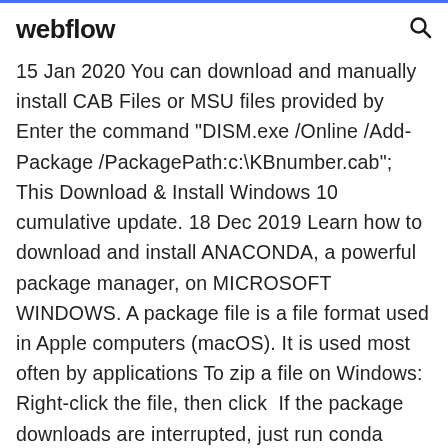webflow
15 Jan 2020 You can download and manually install CAB Files or MSU files provided by Enter the command "DISM.exe /Online /Add-Package /PackagePath:c:\KBnumber.cab"; This Download & Install Windows 10 cumulative update. 18 Dec 2019 Learn how to download and install ANACONDA, a powerful package manager, on MICROSOFT WINDOWS. A package file is a file format used in Apple computers (macOS). It is used most often by applications To zip a file on Windows: Right-click the file, then click  If the package downloads are interrupted, just run conda install anaconda again. Conda In your terminal window, download the file with the command